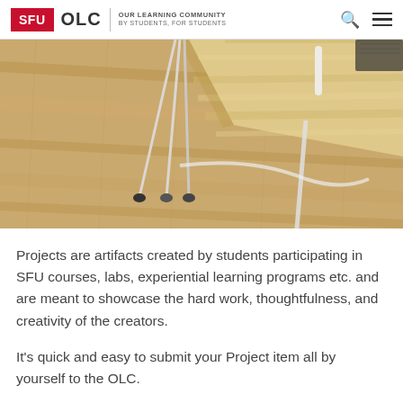SFU OLC | OUR LEARNING COMMUNITY BY STUDENTS, FOR STUDENTS
[Figure (photo): Close-up photo of a light wood desk with white metal hairpin legs on a wood floor, with a black marker and notebook visible on the desk surface]
Projects are artifacts created by students participating in SFU courses, labs, experiential learning programs etc. and are meant to showcase the hard work, thoughtfulness, and creativity of the creators.
It's quick and easy to submit your Project item all by yourself to the OLC.